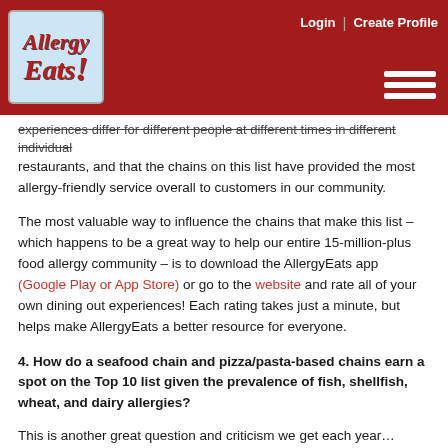AllergyEats — Login | Create Profile navigation header
experiences differ for different people at different times in different individual restaurants, and that the chains on this list have provided the most allergy-friendly service overall to customers in our community.
The most valuable way to influence the chains that make this list – which happens to be a great way to help our entire 15-million-plus food allergy community – is to download the AllergyEats app  (Google Play or App Store) or go to the website and rate all of your own dining out experiences! Each rating takes just a minute, but helps make AllergyEats a better resource for everyone.
4. How do a seafood chain and pizza/pasta-based chains earn a spot on the Top 10 list given the prevalence of fish, shellfish, wheat, and dairy allergies?
This is another great question and criticism we get each year… fortunately with an easy answer. That easy answer is this: the most allergy-friendly